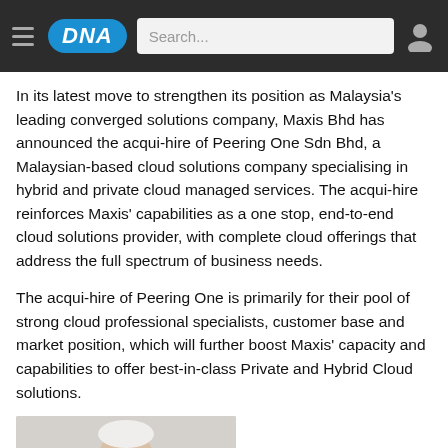DNA | Search...
In its latest move to strengthen its position as Malaysia's leading converged solutions company, Maxis Bhd has announced the acqui-hire of Peering One Sdn Bhd, a Malaysian-based cloud solutions company specialising in hybrid and private cloud managed services. The acqui-hire reinforces Maxis' capabilities as a one stop, end-to-end cloud solutions provider, with complete cloud offerings that address the full spectrum of business needs.
The acqui-hire of Peering One is primarily for their pool of strong cloud professional specialists, customer base and market position, which will further boost Maxis' capacity and capabilities to offer best-in-class Private and Hybrid Cloud solutions.
[Figure (photo): Photo of a person (partial view, head and shoulders), with a quote beginning with “The” to the right.]